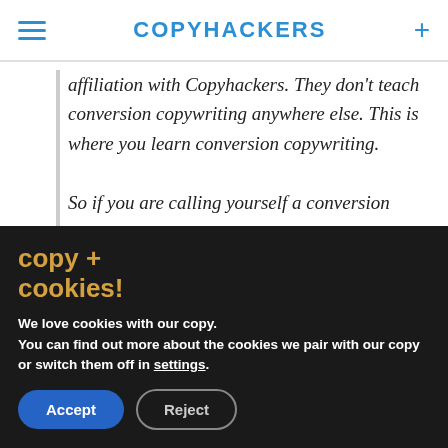COPYHACKERS
affiliation with Copyhackers. They don't teach conversion copywriting anywhere else. This is where you learn conversion copywriting.

So if you are calling yourself a conversion
copy + cookies!
We love cookies with our copy. You can find out more about the cookies we pair with our copy or switch them off in settings.
Accept  Reject